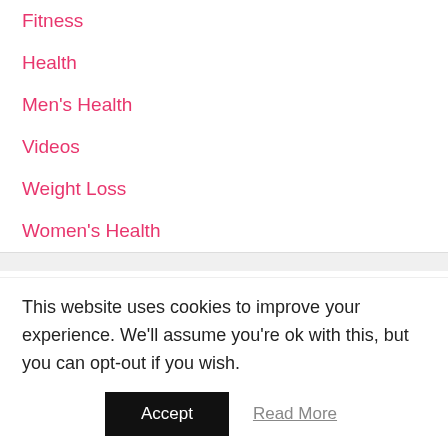Fitness
Health
Men's Health
Videos
Weight Loss
Women's Health
Meta
Log in
This website uses cookies to improve your experience. We'll assume you're ok with this, but you can opt-out if you wish.
Accept
Read More